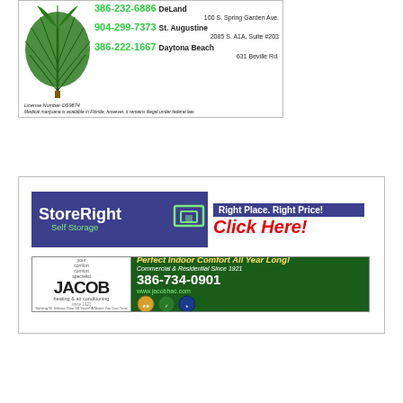[Figure (infographic): Cannabis dispensary advertisement with phone numbers for DeLand (386-232-6886), St. Augustine (904-299-7373), and Daytona Beach (386-222-1667). Includes addresses, license number OS9874, and disclaimer about medical marijuana.]
[Figure (infographic): StoreRight Self Storage ad with slogan 'Right Place. Right Price! Click Here!']
[Figure (infographic): Jacob Heating & Air Conditioning ad: 'Perfect Indoor Comfort All Year Long! Commercial & Residential Since 1921'. Phone: 386-734-0901, website: www.jacobhac.com]